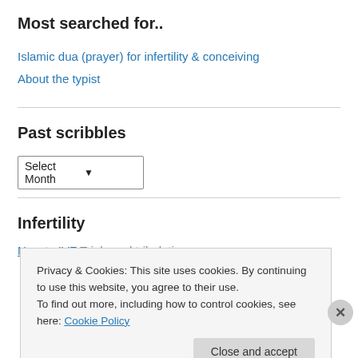Most searched for..
Islamic dua (prayer) for infertility & conceiving
About the typist
Past scribbles
Select Month (dropdown)
Infertility
New to IVF Trials and tribulations
Privacy & Cookies: This site uses cookies. By continuing to use this website, you agree to their use.
To find out more, including how to control cookies, see here: Cookie Policy
Close and accept